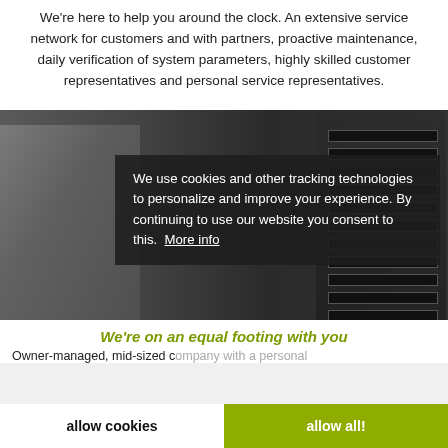We're here to help you around the clock. An extensive service network for customers and with partners, proactive maintenance, daily verification of system parameters, highly skilled customer representatives and personal service representatives.
[Figure (photo): A person standing in front of server racks in a data center, with a cookie consent overlay on top.]
We use cookies and other tracking technologies to personalize and improve your experience. By continuing to use our website you consent to this. More info
We're on an equal footing with you
Owner-managed, mid-sized company with a personal